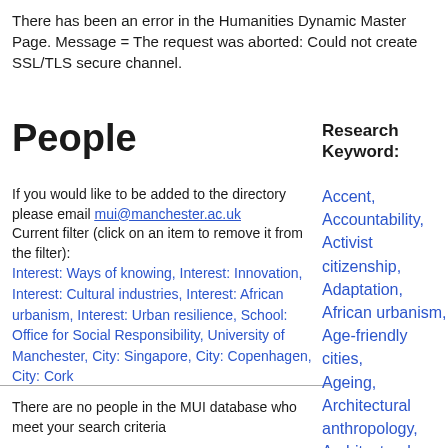There has been an error in the Humanities Dynamic Master Page. Message = The request was aborted: Could not create SSL/TLS secure channel.
People
Research Keyword:
If you would like to be added to the directory please email mui@manchester.ac.uk
Current filter (click on an item to remove it from the filter):
Interest: Ways of knowing, Interest: Innovation, Interest: Cultural industries, Interest: African urbanism, Interest: Urban resilience, School: Office for Social Responsibility, University of Manchester, City: Singapore, City: Copenhagen, City: Cork
There are no people in the MUI database who meet your search criteria
Accent, Accountability, Activist citizenship, Adaptation, African urbanism, Age-friendly cities, Ageing, Architectural anthropology, Architectural drawing, Architectural ethnography, Architecture, Art, Aspiration, Atmosphere, Austerity,